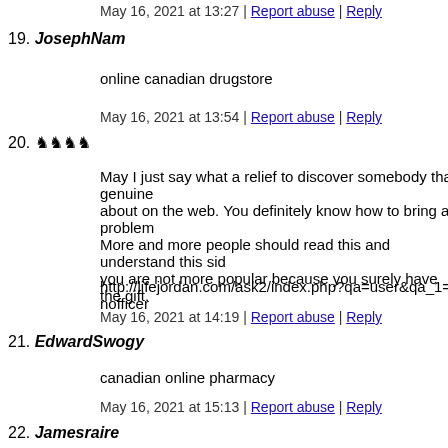May 16, 2021 at 13:27 | Report abuse | Reply
19. JosephNam
online canadian drugstore
May 16, 2021 at 13:54 | Report abuse | Reply
20. ♞♞♞♞
May I just say what a relief to discover somebody that genuinely about on the web. You definitely know how to bring a problem. More and more people should read this and understand this side you are not more popular because you surely have the gift.
http://lifejordan.com/ask2/index.php?qa=user&qa_1=tinofficer
May 16, 2021 at 14:19 | Report abuse | Reply
21. EdwardSwogy
canadian online pharmacy
May 16, 2021 at 15:13 | Report abuse | Reply
22. Jamesraire
canada pharmacy 24h
May 16, 2021 at 16:27 | Report abuse | Reply